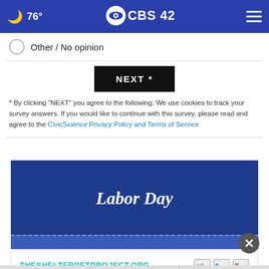76° CBS42
Other / No opinion
NEXT *
* By clicking "NEXT" you agree to the following: We use cookies to track your survey answers. If you would like to continue with this survey, please read and agree to the CivicScience Privacy Policy and Terms of Service
[Figure (other): Labor Day promotional banner with blue background and italic 'Labor Day' text in white, with dashed border line at bottom]
THESHELTERPETPROJECT.ORG